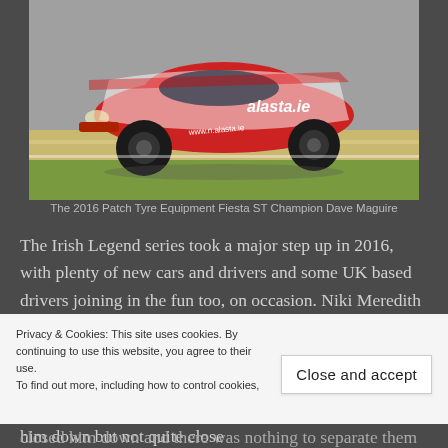[Figure (photo): A red and white Ford Fiesta ST race car with 'alasta.ie' branding on a racing circuit track]
The 2016 Patch Tyre Equipment Fiesta ST Champion Dave Maguire
The Irish Legend series took a major step up in 2016, with plenty of new cars and drivers and some UK based drivers joining in the fun too, on occasion. Niki Meredith , Paul O'Brien and James Holman had taken the majority of the victories and with Meredith having dropped a few rounds, it was between O'Brien and Holman for the title. Holman took first blood in race one with O'Brien closing him down but not quite close
Privacy & Cookies: This site uses cookies. By continuing to use this website, you agree to their use.
To find out more, including how to control cookies,
Close and accept
closed him down and there was nothing to separate them at